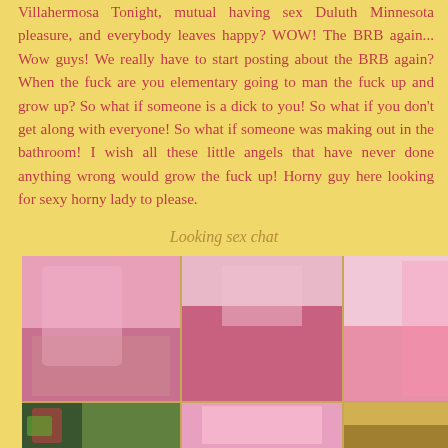Villahermosa Tonight, mutual having sex Duluth Minnesota pleasure, and everybody leaves happy? WOW! The BRB again... Wow guys! We really have to start posting about the BRB again? When the fuck are you elementary going to man the fuck up and grow up? So what if someone is a dick to you! So what if you don't get along with everyone! So what if someone was making out in the bathroom! I wish all these little angels that have never done anything wrong would grow the fuck up! Horny guy here looking for sexy horny lady to please.
Looking sex chat
[Figure (photo): A collage of multiple photos arranged in a grid]